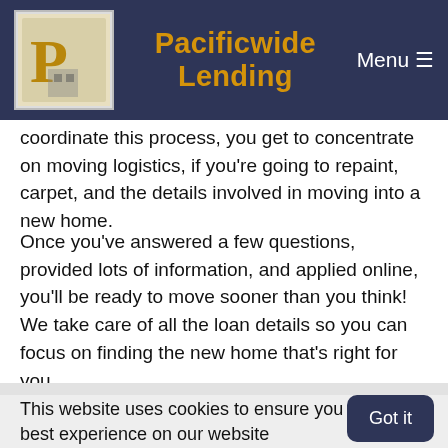Pacificwide Lending
coordinate this process, you get to concentrate on moving logistics, if you're going to repaint, carpet, and the details involved in moving into a new home.
Once you've answered a few questions, provided lots of information, and applied online, you'll be ready to move sooner than you think! We take care of all the loan details so you can focus on finding the new home that's right for you.
Looking for a mortgage loan? We can assist you! Give us a call at 925-461-0500. Ready to get started? Apply Today.
This website uses cookies to ensure you get the best experience on our website
Basic Pre-Approval